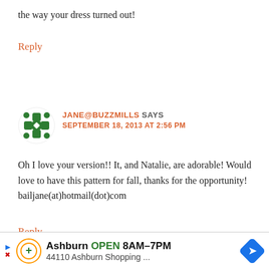the way your dress turned out!
Reply
[Figure (illustration): Green decorative snowflake/cross pattern avatar icon]
JANE@BUZZMILLS SAYS
SEPTEMBER 18, 2013 AT 2:56 PM
Oh I love your version!! It, and Natalie, are adorable! Would love to have this pattern for fall, thanks for the opportunity! bailjane(at)hotmail(dot)com
Reply
[Figure (screenshot): Advertisement banner: Ashburn OPEN 8AM-7PM, 44110 Ashburn Shopping ...]